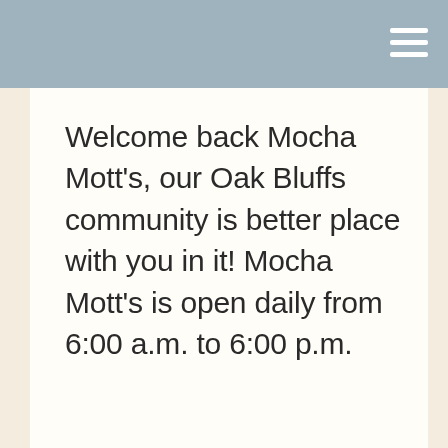Welcome back Mocha Mott's, our Oak Bluffs community is better place with you in it! Mocha Mott's is open daily from 6:00 a.m. to 6:00 p.m.